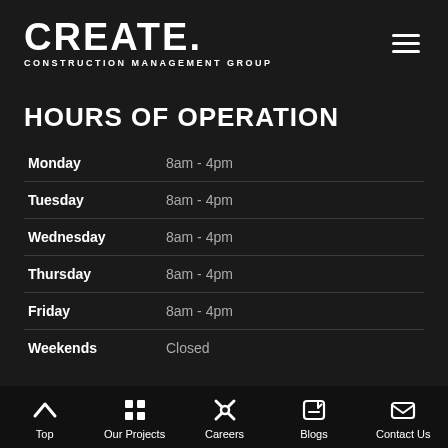CREATE. CONSTRUCTION MANAGEMENT GROUP
HOURS OF OPERATION
| Day | Hours |
| --- | --- |
| Monday | 8am - 4pm |
| Tuesday | 8am - 4pm |
| Wednesday | 8am - 4pm |
| Thursday | 8am - 4pm |
| Friday | 8am - 4pm |
| Weekends | Closed |
Top | Our Projects | Careers | Blogs | Contact Us